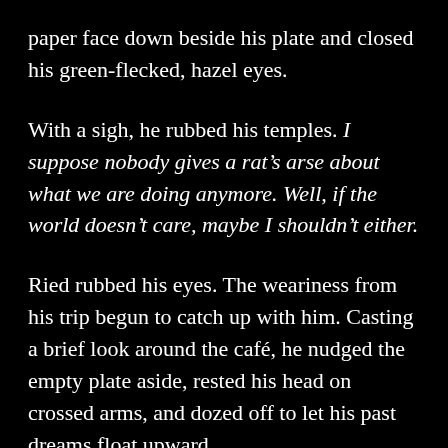paper face down beside his plate and closed his green-flecked, hazel eyes.
With a sigh, he rubbed his temples. I suppose nobody gives a rat’s arse about what we are doing anymore. Well, if the world doesn’t care, maybe I shouldn’t either.
Ried rubbed his eyes. The weariness from his trip begun to catch up with him. Casting a brief look around the café, he nudged the empty plate aside, rested his head on crossed arms, and dozed off to let his past dreams float upward.